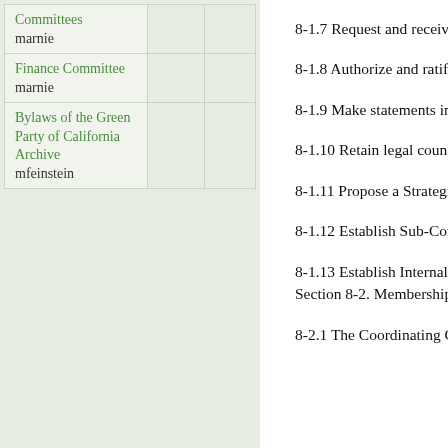| Page |  |  |
| --- | --- | --- |
| Committees
marnie |  |  |
| Finance Committee
marnie |  |  |
| Bylaws of the Green Party of California Archive
mfeinstein |  |  |
8-1.7 Request and receive rep assist their work.
8-1.8 Authorize and ratify spe
8-1.9 Make statements in the
8-1.10 Retain legal counsel or the Coordinating Committee's
8-1.11 Propose a Strategic Pla
8-1.12 Establish Sub-Commit tasks of the Coordinating Com
8-1.13 Establish Internal Proc these Bylaws, to facilitate the Section 8-2. Membership
8-2.1 The Coordinating Com